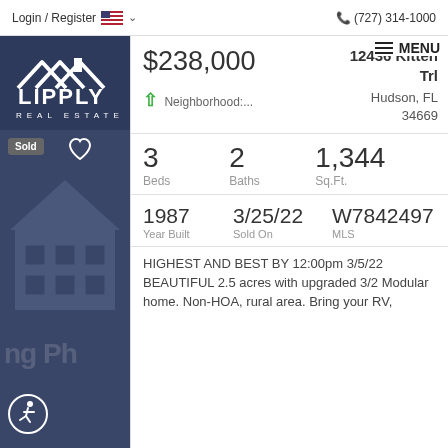Login / Register   (727) 314-1000
[Figure (logo): Lipply Real Estate logo — white house outline and LIPPLY REAL ESTATE text on dark navy background]
Sold
$238,000
12436 Kitten Trl
Hudson, FL 34669
Neighborhood:...
3 Beds   2 Baths   1,344 Sq.Ft.
1987 Year Built   3/25/22 Sold On   W7842497 MLS
HIGHEST AND BEST BY 12:00pm 3/5/22 BEAUTIFUL 2.5 acres with upgraded 3/2 Modular home. Non-HOA, rural area. Bring your RV,